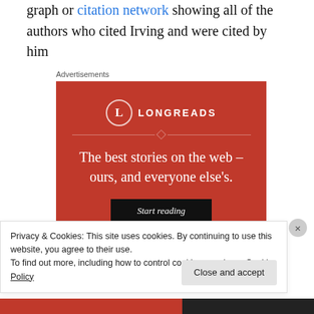graph or citation network showing all of the authors who cited Irving and were cited by him
Advertisements
[Figure (other): Longreads advertisement banner on red background with logo, tagline 'The best stories on the web – ours, and everyone else's.' and a 'Start reading' button.]
Privacy & Cookies: This site uses cookies. By continuing to use this website, you agree to their use.
To find out more, including how to control cookies, see here: Cookie Policy